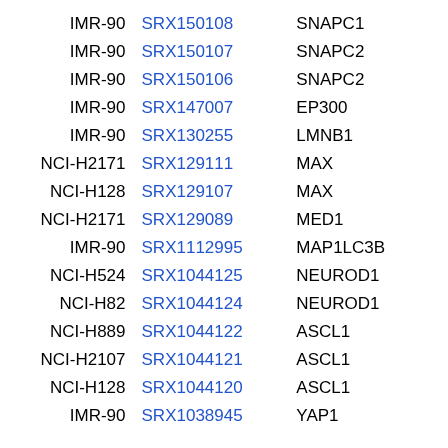| Cell Line | SRX ID | Gene |  |
| --- | --- | --- | --- |
| IMR-90 | SRX150108 | SNAPC1 |  |
| IMR-90 | SRX150107 | SNAPC2 |  |
| IMR-90 | SRX150106 | SNAPC2 |  |
| IMR-90 | SRX147007 | EP300 |  |
| IMR-90 | SRX130255 | LMNB1 |  |
| NCI-H2171 | SRX129111 | MAX |  |
| NCI-H128 | SRX129107 | MAX |  |
| NCI-H2171 | SRX129089 | MED1 |  |
| IMR-90 | SRX1112995 | MAP1LC3B |  |
| NCI-H524 | SRX1044125 | NEUROD1 |  |
| NCI-H82 | SRX1044124 | NEUROD1 |  |
| NCI-H889 | SRX1044122 | ASCL1 |  |
| NCI-H2107 | SRX1044121 | ASCL1 |  |
| NCI-H128 | SRX1044120 | ASCL1 |  |
| IMR-90 | SRX1038945 | YAP1 |  |